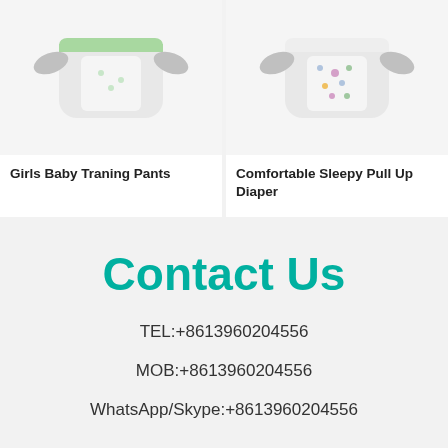[Figure (photo): Product image of Girls Baby Training Pants diaper displayed spread open with tabs visible, light green accents, on white background]
[Figure (photo): Product image of Comfortable Sleepy Pull Up Diaper displayed spread open with colorful pattern print, on white background]
Girls Baby Traning Pants
Comfortable Sleepy Pull Up Diaper
Contact Us
TEL:+8613960204556
MOB:+8613960204556
WhatsApp/Skype:+8613960204556